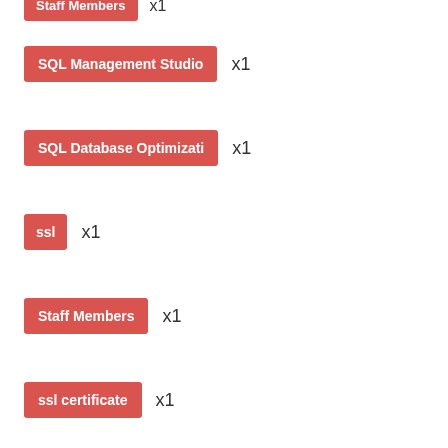Staff Members x1
SQL Management Studio x1
SQL Database Optimization x1
ssl x1
Staff Members x1
ssl certificate x1
Subscribe as Reseller x1
Subscribe x1
Subscribe As reseller x1
Subscribe Service x1
Subscribe Customer to CS x1
Sub Reseller in Provider\P x1
Store Front x1